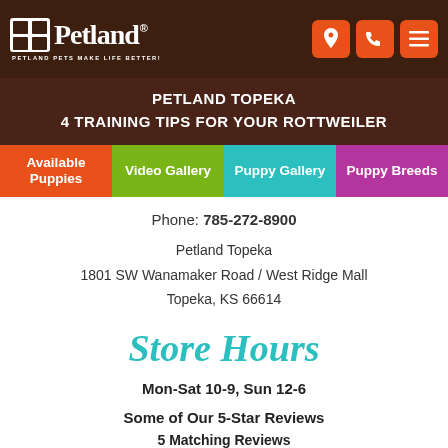Petland — PETLAND PETS MAKE LIFE BETTER!
PETLAND TOPEKA
4 TRAINING TIPS FOR YOUR ROTTWEILER
Available Puppies | Video Gallery | Puppy Gallery | Puppy Breeds
Phone: 785-272-8900
Petland Topeka
1801 SW Wanamaker Road / West Ridge Mall
Topeka, KS 66614
Store Hours
Mon-Sat 10-9, Sun 12-6
Some of Our 5-Star Reviews
5 Matching Reviews